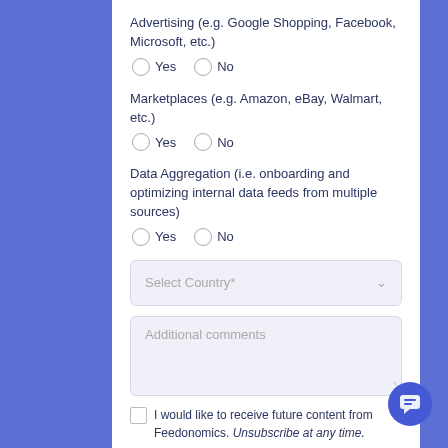Advertising (e.g. Google Shopping, Facebook, Microsoft, etc.)
○ Yes  ○ No
Marketplaces (e.g. Amazon, eBay, Walmart, etc.)
○ Yes  ○ No
Data Aggregation (i.e. onboarding and optimizing internal data feeds from multiple sources)
○ Yes  ○ No
Select Country*
Additional comments
I would like to receive future content from Feedonomics. Unsubscribe at any time.